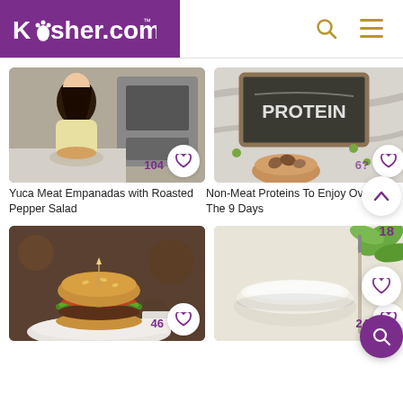[Figure (screenshot): Kosher.com website header with purple logo background, search icon, and hamburger menu icon]
[Figure (photo): Woman with dark hair smiling in kitchen with food in front of her - Yuca Meat Empanadas recipe card with 104 likes]
Yuca Meat Empanadas with Roasted Pepper Salad
[Figure (photo): Chalkboard with PROTEIN written on it and nuts/seeds in bowl - Non-Meat Proteins recipe card with likes]
Non-Meat Proteins To Enjoy Over The 9 Days
[Figure (photo): Gourmet burger on plate with dipping sauce - recipe card with 46 likes]
[Figure (photo): White bowl with cream/soup and green leaves - recipe card with 24 likes]